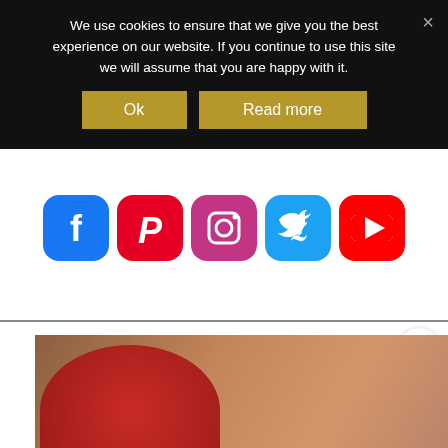We use cookies to ensure that we give you the best experience on our website. If you continue to use this site we will assume that you are happy with it.
Ok | Read more
[Figure (infographic): Social media icons row: Facebook (blue rounded rectangle), Pinterest (red rounded rectangle), Instagram (pink/magenta rounded rectangle), Twitter (light blue rounded rectangle), YouTube (red rounded rectangle)]
[Figure (photo): Article image showing slow cooker fudge pieces on a plate with text overlay reading SLOW COOKER FUDGE]
WHAT'S NEXT → A Family Day at Goodwoo...